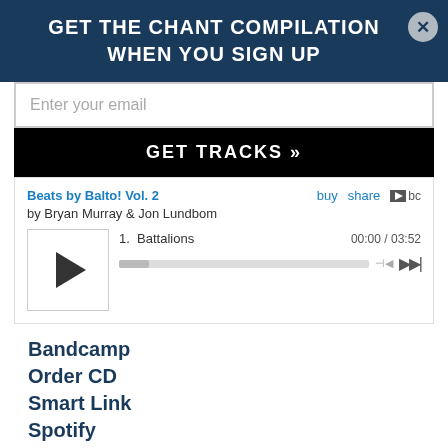GET THE CHANT COMPILATION WHEN YOU SIGN UP
Enter your email
GET TRACKS »
Beats by Balto! Vol. 2   buy   share   bc
by Bryan Murray & Jon Lundbom
1.  Battalions   00:00 / 03:52
Bandcamp
Order CD
Smart Link
Spotify
Apple Music / iTunes
Amazon